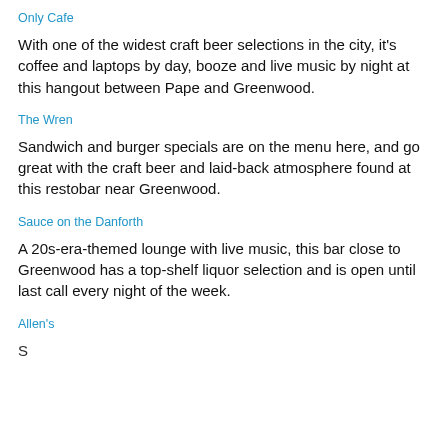Only Cafe
With one of the widest craft beer selections in the city, it's coffee and laptops by day, booze and live music by night at this hangout between Pape and Greenwood.
The Wren
Sandwich and burger specials are on the menu here, and go great with the craft beer and laid-back atmosphere found at this restobar near Greenwood.
Sauce on the Danforth
A 20s-era-themed lounge with live music, this bar close to Greenwood has a top-shelf liquor selection and is open until last call every night of the week.
Allen's